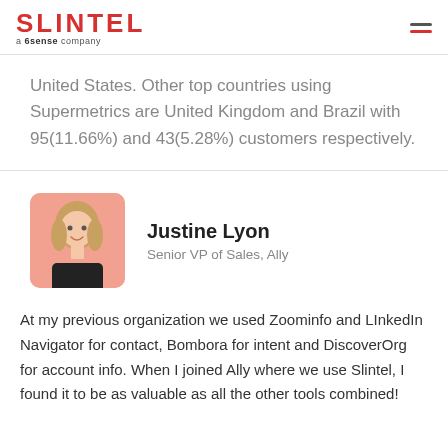SLINTEL — a 6sense company
United States. Other top countries using Supermetrics are United Kingdom and Brazil with 95(11.66%) and 43(5.28%) customers respectively.
[Figure (photo): Profile photo of Justine Lyon on a pink/salmon background]
Justine Lyon
Senior VP of Sales, Ally
At my previous organization we used Zoominfo and LInkedIn Navigator for contact, Bombora for intent and DiscoverOrg for account info. When I joined Ally where we use Slintel, I found it to be as valuable as all the other tools combined!